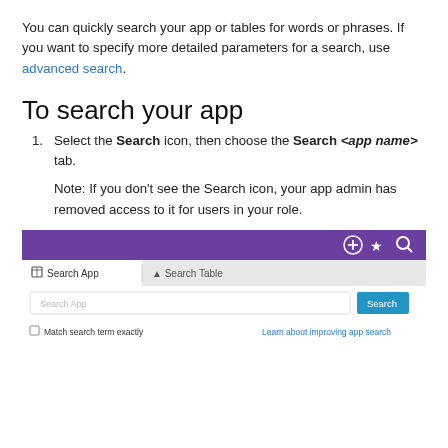You can quickly search your app or tables for words or phrases. If you want to specify more detailed parameters for a search, use advanced search.
To search your app
Select the Search icon, then choose the Search <app name> tab.
Note: If you don't see the Search icon, your app admin has removed access to it for users in your role.
[Figure (screenshot): Screenshot of a search interface showing a purple navigation bar with Search App and Search Table tabs, a search input field, a Search button, checkboxes, and a link.]